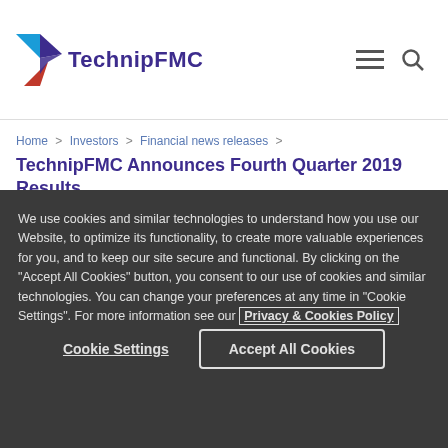TechnipFMC
Home > Investors > Financial news releases >
TechnipFMC Announces Fourth Quarter 2019 Results
than doubled
We use cookies and similar technologies to understand how you use our Website, to optimize its functionality, to create more valuable experiences for you, and to keep our site secure and functional. By clicking on the "Accept All Cookies" button, you consent to our use of cookies and similar technologies. You can change your preferences at any time in "Cookie Settings". For more information see our Privacy & Cookies Policy
Cookie Settings
Accept All Cookies